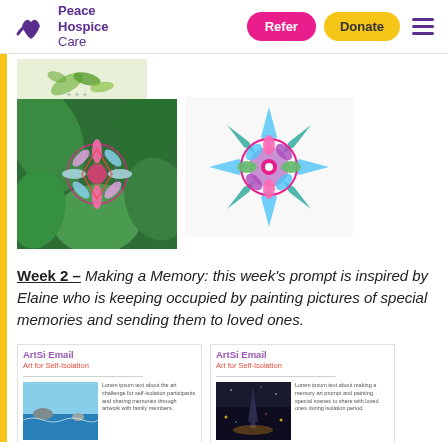Peace Hospice Care — Refer | Donate
[Figure (photo): Two images: left shows a colourful mandala artwork resting among green tropical leaves; top-left shows a small green leaf sketch. Right shows a detailed geometric mandala drawing in blue, green, and pink on white paper.]
Week 2 – Making a Memory: this week's prompt is inspired by Elaine who is keeping occupied by painting pictures of special memories and sending them to loved ones.
[Figure (screenshot): Two ArtSi Email newsletter thumbnails side by side. Left one headed 'ArtSi Email – Art for Self-Isolation' with a seascape image. Right one headed 'ArtSi Email – Art for Self-Isolation' with a night city lights image.]